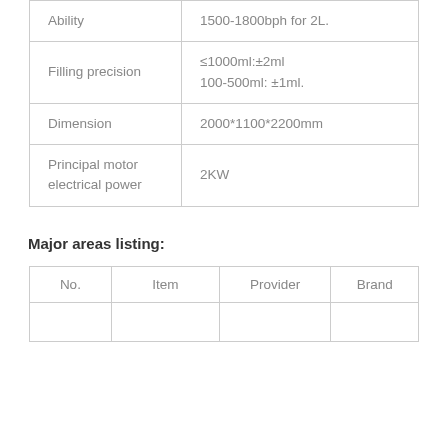|  |  |
| --- | --- |
| Ability | 1500-1800bph for 2L. |
| Filling precision | ≤1000ml:±2ml
100-500ml: ±1ml. |
| Dimension | 2000*1100*2200mm |
| Principal motor electrical power | 2KW |
Major areas listing:
| No. | Item | Provider | Brand |
| --- | --- | --- | --- |